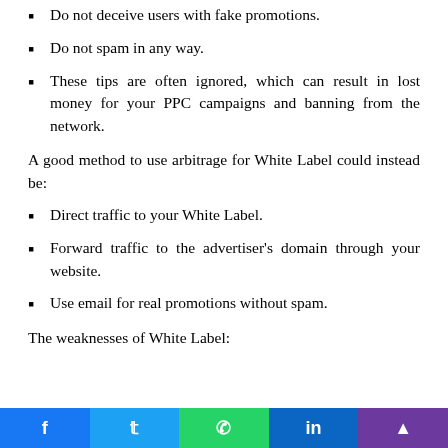Do not deceive users with fake promotions.
Do not spam in any way.
These tips are often ignored, which can result in lost money for your PPC campaigns and banning from the network.
A good method to use arbitrage for White Label could instead be:
Direct traffic to your White Label.
Forward traffic to the advertiser's domain through your website.
Use email for real promotions without spam.
The weaknesses of White Label: